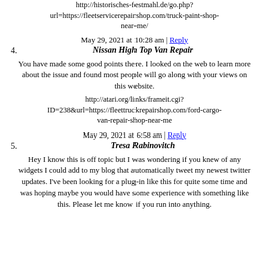http://historisches-festmahl.de/go.php?url=https://fleetservicerepairshop.com/truck-paint-shop-near-me/
May 29, 2021 at 10:28 am | Reply
4. Nissan High Top Van Repair
You have made some good points there. I looked on the web to learn more about the issue and found most people will go along with your views on this website.
http://atari.org/links/frameit.cgi?ID=238&url=https://fleettruckrepairshop.com/ford-cargo-van-repair-shop-near-me
May 29, 2021 at 6:58 am | Reply
5. Tresa Rabinovitch
Hey I know this is off topic but I was wondering if you knew of any widgets I could add to my blog that automatically tweet my newest twitter updates. I've been looking for a plug-in like this for quite some time and was hoping maybe you would have some experience with something like this. Please let me know if you run into anything.